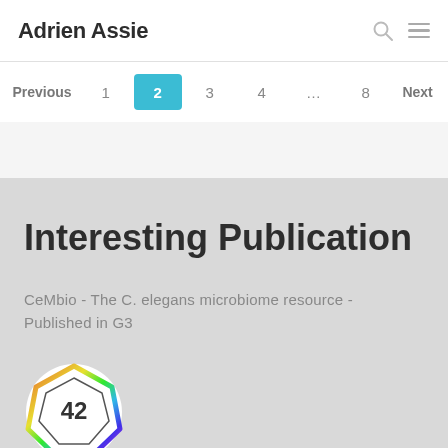Adrien Assie
Previous  1  2  3  4  ...  8  Next
Interesting Publication
CeMbio - The C. elegans microbiome resource - Published in G3
[Figure (illustration): Altmetric score badge showing score of 42, a colorful heptagon shape with rainbow gradient border]